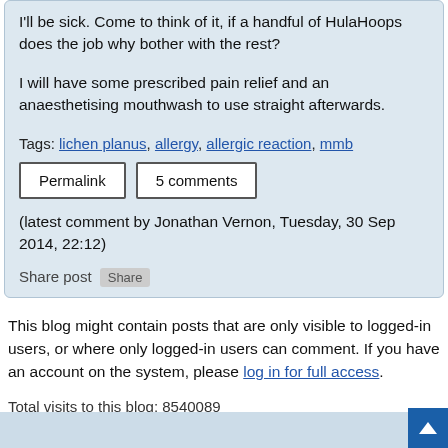I'll be sick. Come to think of it, if a handful of HulaHoops does the job why bother with the rest?
I will have some prescribed pain relief and an anaesthetising mouthwash to use straight afterwards.
Tags: lichen planus, allergy, allergic reaction, mmb
Permalink  5 comments
(latest comment by Jonathan Vernon, Tuesday, 30 Sep 2014, 22:12)
Share post
This blog might contain posts that are only visible to logged-in users, or where only logged-in users can comment. If you have an account on the system, please log in for full access.
Total visits to this blog: 8540089